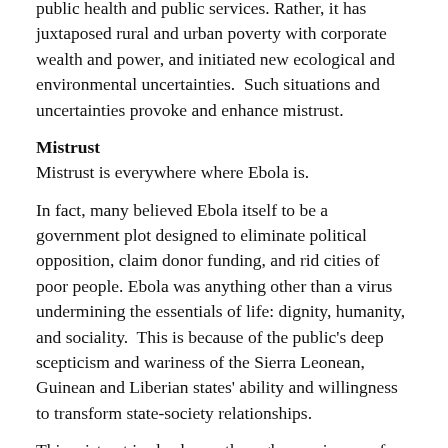public health and public services. Rather, it has juxtaposed rural and urban poverty with corporate wealth and power, and initiated new ecological and environmental uncertainties.  Such situations and uncertainties provoke and enhance mistrust.
Mistrust
Mistrust is everywhere where Ebola is.
In fact, many believed Ebola itself to be a government plot designed to eliminate political opposition, claim donor funding, and rid cities of poor people. Ebola was anything other than a virus undermining the essentials of life: dignity, humanity, and sociality.  This is because of the public's deep scepticism and wariness of the Sierra Leonean, Guinean and Liberian states' ability and willingness to transform state-society relationships.
This mistrust is also borne through experiences of failing and frail health systems in these countries.  Health promotion and the prevention of disease outbreaks requires people to believe that, when visiting hospitals, they will be provided with assistance that will help them to recover; that health workers are competent; that service providers will act in the patients' interests; that systems function etc.  Indeed, a government's